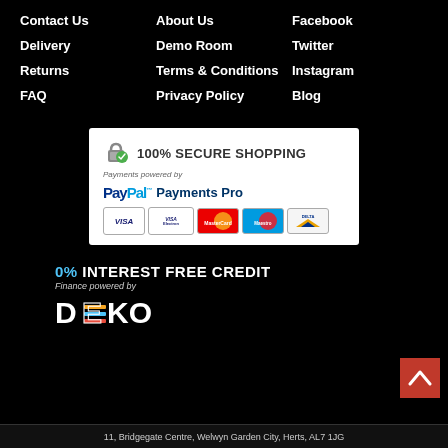Contact Us
About Us
Facebook
Delivery
Demo Room
Twitter
Returns
Terms & Conditions
Instagram
FAQ
Privacy Policy
Blog
[Figure (infographic): 100% Secure Shopping badge with padlock icon, Payments powered by PayPal Payments Pro, with VISA, VISA Electron, MasterCard, Maestro, Delta card logos]
0% INTEREST FREE CREDIT Finance powered by DEKO
11, Bridgegate Centre, Welwyn Garden City, Herts, AL7 1JG